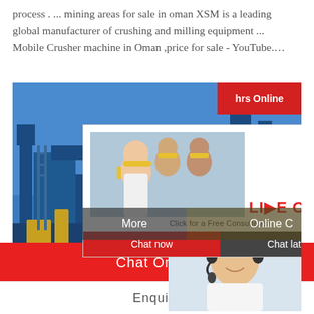process . ... mining areas for sale in oman XSM is a leading global manufacturer of crushing and milling equipment ... Mobile Crusher machine in Oman ,price for sale - YouTube.…
[Figure (photo): Industrial facility/mining equipment in background with overlaid live chat popup showing workers in hard hats, 'LIVE CHAT' heading, 'Click for a Free Consultation', Chat now and Chat later buttons, customer service agent with headset, 'Need questions & suggestion? Chat Now' panel, More and Online C buttons, Chat Online footer bar, and Enquire bar.]